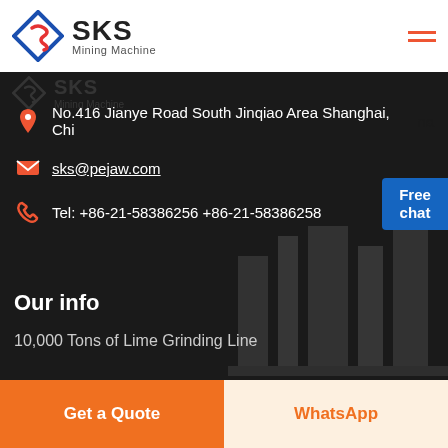[Figure (logo): SKS Mining Machine logo with diamond S icon in blue/red]
No.416 Jianye Road South Jinqiao Area Shanghai, China
sks@pejaw.com
Tel: +86-21-58386256 +86-21-58386258
Our info
10,000 Tons of Lime Grinding Line
Get a Quote
WhatsApp